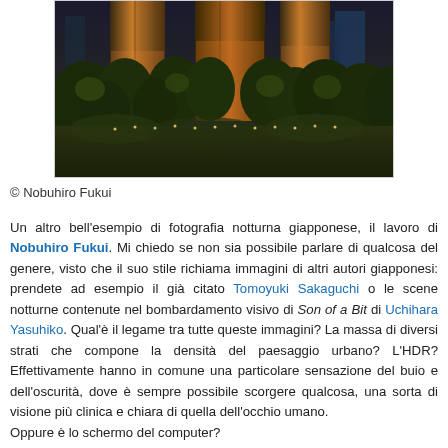[Figure (photo): Night photography of large concrete structures/pillars surrounded by dense trees and urban vegetation, with buildings visible in the background. Dark atmospheric HDR-style photograph.]
© Nobuhiro Fukui
Un altro bell'esempio di fotografia notturna giapponese, il lavoro di Nobuhiro Fukui. Mi chiedo se non sia possibile parlare di qualcosa del genere, visto che il suo stile richiama immagini di altri autori giapponesi: prendete ad esempio il già citato Tomoyuki Sakaguchi o le scene notturne contenute nel bombardamento visivo di Son of a Bit di Uchihara Yasuhiko. Qual'è il legame tra tutte queste immagini? La massa di diversi strati che compone la densità del paesaggio urbano? L'HDR? Effettivamente hanno in comune una particolare sensazione del buio e dell'oscurità, dove è sempre possibile scorgere qualcosa, una sorta di visione più clinica e chiara di quella dell'occhio umano.
Oppure è lo schermo del computer?